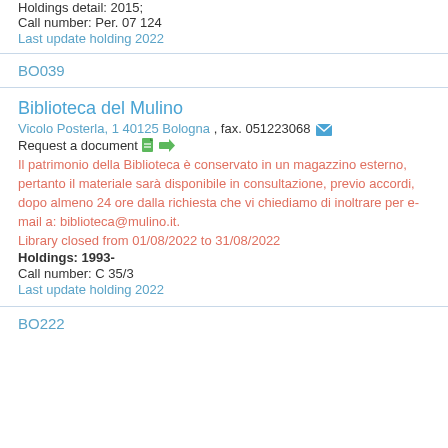Holdings detail: 2015;
Call number: Per. 07 124
Last update holding 2022
BO039
Biblioteca del Mulino
Vicolo Posterla, 1 40125 Bologna , fax. 051223068
Request a document
Il patrimonio della Biblioteca è conservato in un magazzino esterno, pertanto il materiale sarà disponibile in consultazione, previo accordi, dopo almeno 24 ore dalla richiesta che vi chiediamo di inoltrare per e-mail a: biblioteca@mulino.it.
Library closed from 01/08/2022 to 31/08/2022
Holdings: 1993-
Call number: C 35/3
Last update holding 2022
BO222